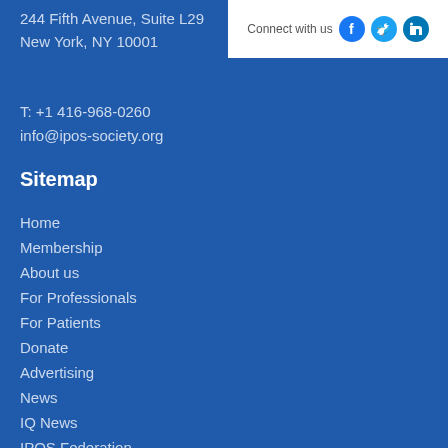244 Fifth Avenue, Suite L29
New York, NY 10001
T: +1 416-968-0260
info@ipos-society.org
[Figure (infographic): Connect with us social media icons for Facebook, Twitter, and LinkedIn on white background]
Sitemap
Home
Membership
About us
For Professionals
For Patients
Donate
Advertising
News
IQ News
IPOS Federation
Privacy Policy